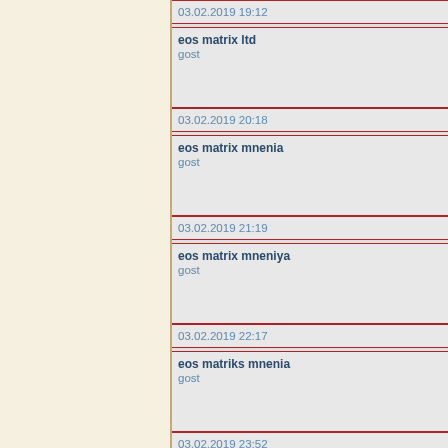03.02.2019 19:12
eos matrix ltd
gost
03.02.2019 20:18
eos matrix mnenia
gost
03.02.2019 21:19
eos matrix mneniya
gost
03.02.2019 22:17
eos matriks mnenia
gost
03.02.2019 23:52